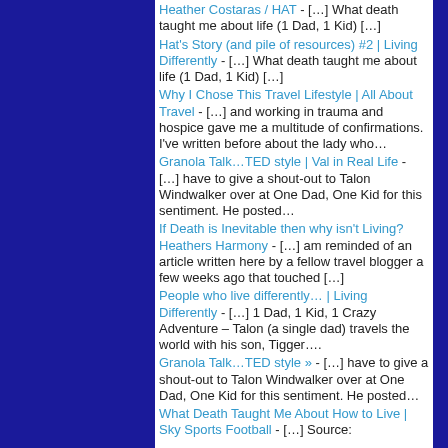Heather Costaras / HAT - […] What death taught me about life (1 Dad, 1 Kid) […]
Hat's Story (and pile of resources) #2 | Living Differently - […] What death taught me about life (1 Dad, 1 Kid) […]
Why I Chose This Travel Lifestyle | All About Travel - […] and working in trauma and hospice gave me a multitude of confirmations. I've written before about the lady who…
Granola Talk…TED style | Val in Real Life - […] have to give a shout-out to Talon Windwalker over at One Dad, One Kid for this sentiment. He posted…
If Death is Inevitable then why isn't Living? Heathers Harmony - […] am reminded of an article written here by a fellow travel blogger a few weeks ago that touched […]
People who live differently… | Living Differently - […] 1 Dad, 1 Kid, 1 Crazy Adventure – Talon (a single dad) travels the world with his son, Tigger….
Granola Talk…TED style » - […] have to give a shout-out to Talon Windwalker over at One Dad, One Kid for this sentiment. He posted…
What Death Taught Me About How to Live | Sky Sports Football - […] Source: